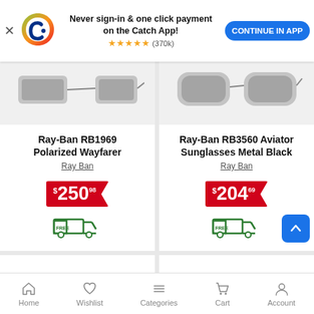[Figure (screenshot): Catch app banner with logo, text 'Never sign-in & one click payment on the Catch App!', star rating (370k), and 'CONTINUE IN APP' button]
[Figure (photo): Ray-Ban RB1969 Polarized Wayfarer sunglasses product image]
Ray-Ban RB1969 Polarized Wayfarer
Ray Ban
$250.98
[Figure (illustration): FREE shipping badge with truck icon]
[Figure (photo): Ray-Ban RB3560 Aviator Sunglasses Metal Black product image]
Ray-Ban RB3560 Aviator Sunglasses Metal Black
Ray Ban
$204.69
[Figure (illustration): FREE shipping badge with truck icon]
Home  Wishlist  Categories  Cart  Account